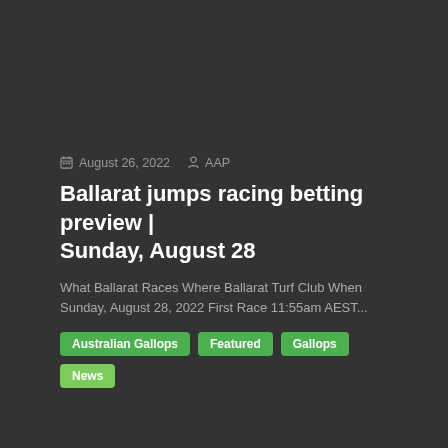August 26, 2022  AAP
Ballarat jumps racing betting preview | Sunday, August 28
What Ballarat Races Where Ballarat Turf Club When Sunday, August 28, 2022 First Race 11:55am AEST...
Australian Gallops
Featured
Gallops
News